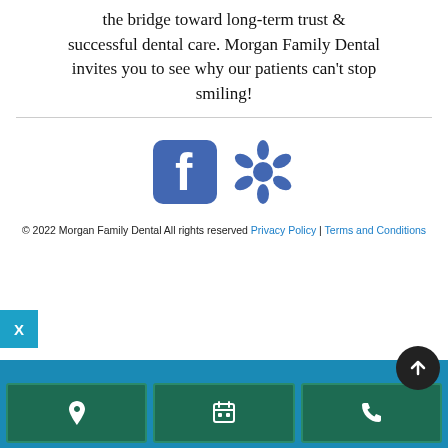the bridge toward long-term trust & successful dental care. Morgan Family Dental invites you to see why our patients can't stop smiling!
[Figure (logo): Facebook icon (blue rounded square with white f) and Yelp icon (blue starburst/flower shape) social media icons]
© 2022 Morgan Family Dental All rights reserved Privacy Policy | Terms and Conditions
[Figure (infographic): Three dark green buttons in a teal bar at the bottom: location pin icon, calendar icon, phone icon. A black circular up-arrow button overlapping the right side.]